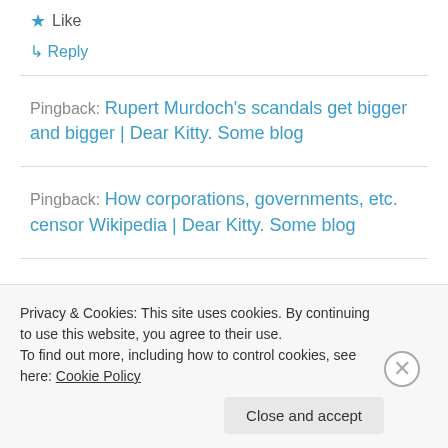★ Like
↳ Reply
Pingback: Rupert Murdoch's scandals get bigger and bigger | Dear Kitty. Some blog
Pingback: How corporations, governments, etc. censor Wikipedia | Dear Kitty. Some blog
Pingback: [partial, cut off]
Privacy & Cookies: This site uses cookies. By continuing to use this website, you agree to their use. To find out more, including how to control cookies, see here: Cookie Policy
Close and accept